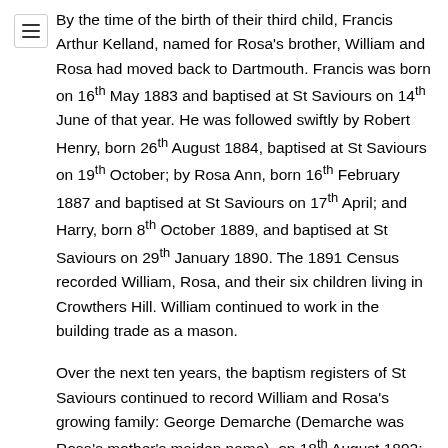By the time of the birth of their third child, Francis Arthur Kelland, named for Rosa's brother, William and Rosa had moved back to Dartmouth. Francis was born on 16th May 1883 and baptised at St Saviours on 14th June of that year. He was followed swiftly by Robert Henry, born 26th August 1884, baptised at St Saviours on 19th October; by Rosa Ann, born 16th February 1887 and baptised at St Saviours on 17th April; and Harry, born 8th October 1889, and baptised at St Saviours on 29th January 1890. The 1891 Census recorded William, Rosa, and their six children living in Crowthers Hill. William continued to work in the building trade as a mason.
Over the next ten years, the baptism registers of St Saviours continued to record William and Rosa's growing family: George Demarche (Demarche was Rosa's mother's maiden name), on 18th August 1892; Freda Louise, on 27th September 1894; Alfred Edward and Charles Walter, baptised together on 15th July 1897 (Alfred Edward was